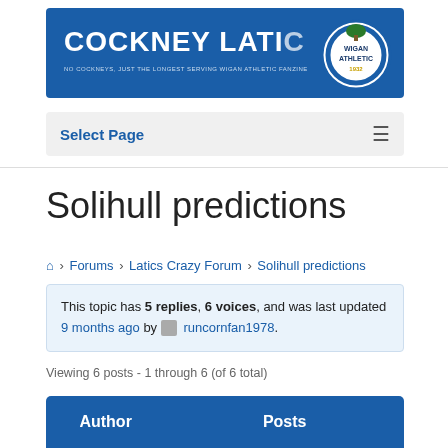[Figure (logo): Cockney Latics banner with blue background, text 'COCKNEY LATICS' and Wigan Athletic club badge, subtitle 'No Cockneys, Just The Longest Serving Wigan Athletic Fanzine']
Select Page
Solihull predictions
Forums › Latics Crazy Forum › Solihull predictions
This topic has 5 replies, 6 voices, and was last updated 9 months ago by runcornfan1978.
Viewing 6 posts - 1 through 6 (of 6 total)
| Author | Posts |
| --- | --- |